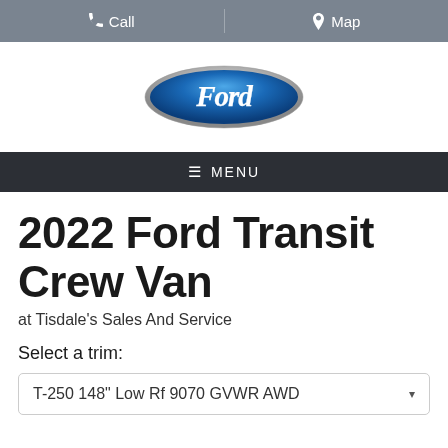Call   Map
[Figure (logo): Ford blue oval logo with 'Ford' script text in white]
≡ MENU
2022 Ford Transit Crew Van
at Tisdale's Sales And Service
Select a trim:
T-250 148" Low Rf 9070 GVWR AWD